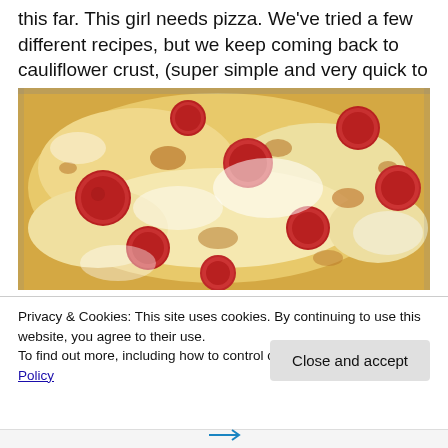this far. This girl needs pizza. We've tried a few different recipes, but we keep coming back to cauliflower crust, (super simple and very quick to throw together).
[Figure (photo): Close-up photo of a pepperoni pizza with melted cheese on a baking tray, viewed from above.]
Privacy & Cookies: This site uses cookies. By continuing to use this website, you agree to their use.
To find out more, including how to control cookies, see here: Cookie Policy
Close and accept